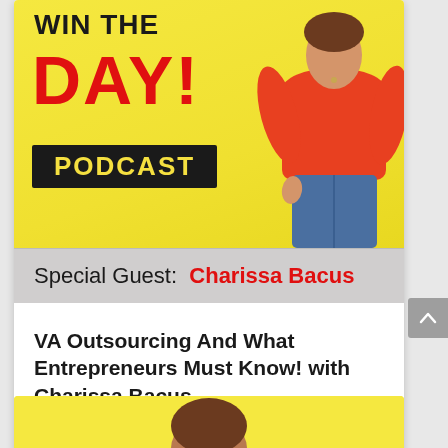[Figure (illustration): Win The Day Podcast cover art showing yellow background with bold text 'WIN THE DAY! PODCAST' and a woman in an orange shirt]
Special Guest:  Charissa Bacus
VA Outsourcing And What Entrepreneurs Must Know! with Charissa Bacus
Oct 5, 2021
[Figure (illustration): Partial view of a second podcast card with yellow background, partially visible]